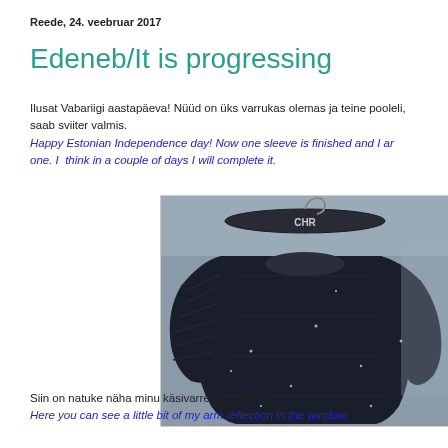Reede, 24. veebruar 2017
Edeneb/It is progressing
Ilusat Vabariigi aastapäeva! Nüüd on üks varrukas olemas ja teine pooleli, saab sviiter valmis.
Happy Estonian Independence day! Now one sleeve is finished and I am working the other one. I think in a couple of days I will complete it.
[Figure (photo): A dark navy/black knitted sweater hanging on a clothes hanger (branded CHR), showing the back and one sleeve. Sparkly or snowy texture visible on the fabric.]
Siin on natuke näha minu käsivarre peegeldust.
Here you can see a little bit of my arm reflection in the window.